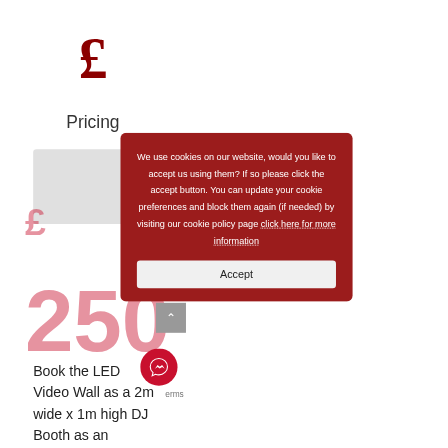[Figure (other): Large dark red pound sterling symbol (£) centered near top of page]
Pricing
[Figure (other): Large stylized price number '250' in red with £ currency symbol, partially visible behind overlay]
We use cookies on our website, would you like to accept us using them? If so please click the accept button. You can update your cookie preferences and block them again (if needed) by visiting our cookie policy page click here for more information
Accept
Book the LED Video Wall as a 2m wide x 1m high DJ Booth as an addition to your